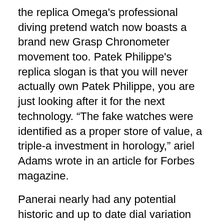the replica Omega's professional diving pretend watch now boasts a brand new Grasp Chronometer movement too. Patek Philippe's replica slogan is that you will never actually own Patek Philippe, you are just looking after it for the next technology. “The fake watches were identified as a proper store of value, a triple-a investment in horology,” ariel Adams wrote in an article for Forbes magazine.
Panerai nearly had any potential historic and up to date dial variation combined in any doable case, sometimes without any reference and historical appreciation of the brand. Each watch will produce 90 samples, usually in Beverly hills, Bar Harbor, Aspen, and Las Vegas Richard Mill boutique, and the Americas authorized Richard Mille replica watches retail Store to purchase.
Horn is an amazingly completed world explorer, sailor, and environmentalist, and this isn’t his first time